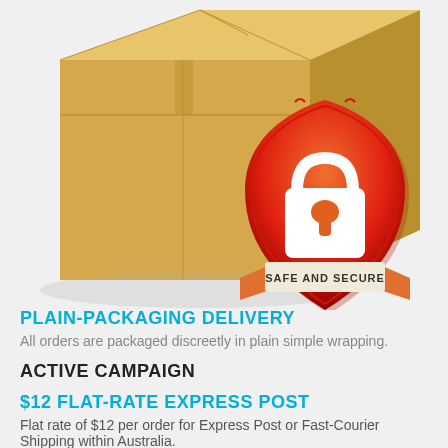[Figure (illustration): A cardboard box with a red and orange shield badge overlaid in the lower-right area of the box. The shield contains a white padlock icon and a banner reading 'SAFE AND SECURE'.]
PLAIN-PACKAGING DELIVERY
All orders are packaged discreetly in plain simple wrapping.
ACTIVE CAMPAIGN
$12 FLAT-RATE EXPRESS POST
Flat rate of $12 per order for Express Post or Fast-Courier Shipping within Australia.